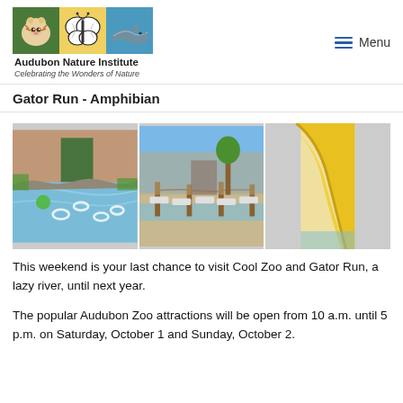Audubon Nature Institute — Celebrating the Wonders of Nature | Menu
Gator Run - Amphibian
[Figure (photo): Three photos: a lazy river with colorful inner tubes floating on blue water near a building; beach chairs beside a pool with wooden posts; close-up of a yellow water slide.]
This weekend is your last chance to visit Cool Zoo and Gator Run, a lazy river, until next year.
The popular Audubon Zoo attractions will be open from 10 a.m. until 5 p.m. on Saturday, October 1 and Sunday, October 2.